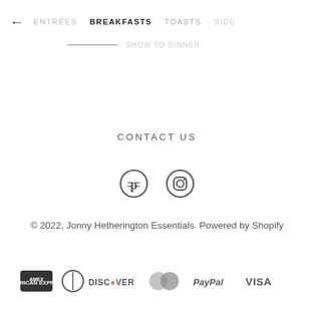← ENTRÉES  BREAKFASTS  TOASTS  SIDE
CONTACT US
[Figure (illustration): Pinterest and Instagram social media icons (circular outline icons in dark gray)]
© 2022, Jonny Hetherington Essentials. Powered by Shopify
[Figure (illustration): Payment method icons: American Express, Diners Club, Discover, Mastercard, PayPal, Visa]